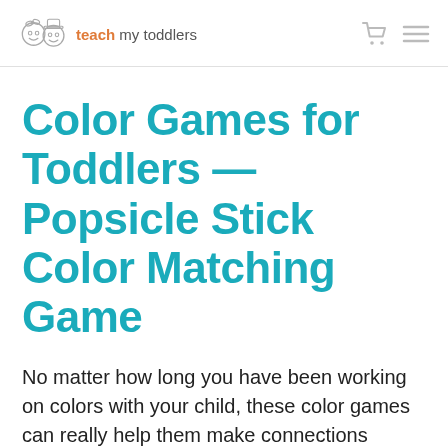teach my toddlers
Color Games for Toddlers — Popsicle Stick Color Matching Game
No matter how long you have been working on colors with your child, these color games can really help them make connections